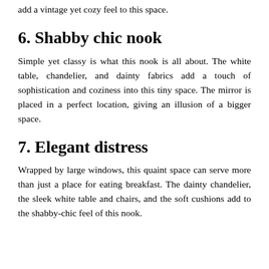add a vintage yet cozy feel to this space.
6. Shabby chic nook
Simple yet classy is what this nook is all about. The white table, chandelier, and dainty fabrics add a touch of sophistication and coziness into this tiny space. The mirror is placed in a perfect location, giving an illusion of a bigger space.
7. Elegant distress
Wrapped by large windows, this quaint space can serve more than just a place for eating breakfast. The dainty chandelier, the sleek white table and chairs, and the soft cushions add to the shabby-chic feel of this nook.